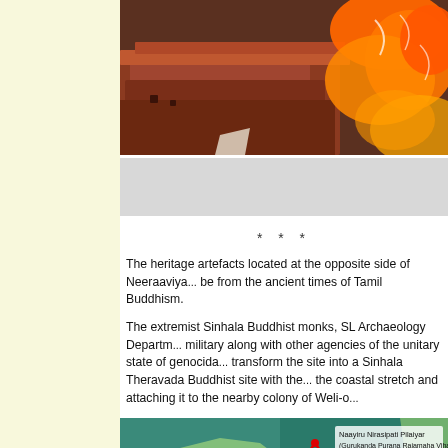[Figure (photo): Close-up photo of ancient reddish-brown stone/brick artefacts with orange cloth/flags draped over them]
[Figure (other): Light grey caption/image area below the main photo]
* * *
The heritage artefacts located at the opposite side of Neeraaviya... be from the ancient times of Tamil Buddhism.
The extremist Sinhala Buddhist monks, SL Archaeology Departm... military along with other agencies of the unitary state of genocida... transform the site into a Sinhala Theravada Buddhist site with the... the coastal stretch and attaching it to the nearby colony of Weli-o...
[Figure (map): Satellite/aerial map showing coastal area with TamilNet logo overlay and red triangle lines marking locations including Naayiru Nirasipati Pilaiyar / Gurukanda Purana Rajamaha Viharaya]